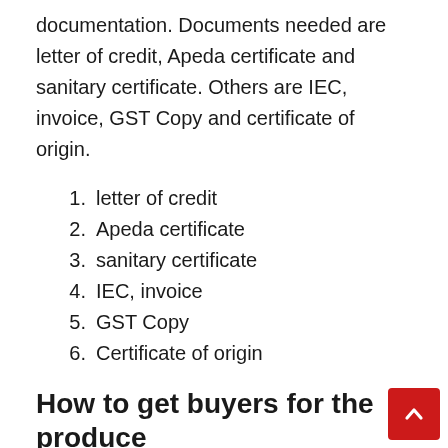documentation. Documents needed are letter of credit, Apeda certificate and sanitary certificate. Others are IEC, invoice, GST Copy and certificate of origin.
letter of credit
Apeda certificate
sanitary certificate
IEC, invoice
GST Copy
Certificate of origin
How to get buyers for the produce
The major challenge for new exporters is finding buyers abroad. There are many ways to